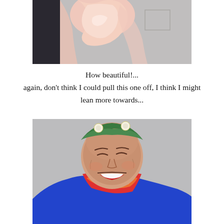[Figure (photo): Close-up photo of a person wearing a pink/blush silk scarf tied at the neck, with a grey blazer. A dark-clad figure is partially visible on the left.]
How beautiful!...
again, don't think I could pull this one off, I think I might lean more towards...
[Figure (photo): Woman laughing heartily, wearing hair rollers with a green headscarf, a colorful floral scarf at her neck, and a bright blue coat. Set against a light grey background.]